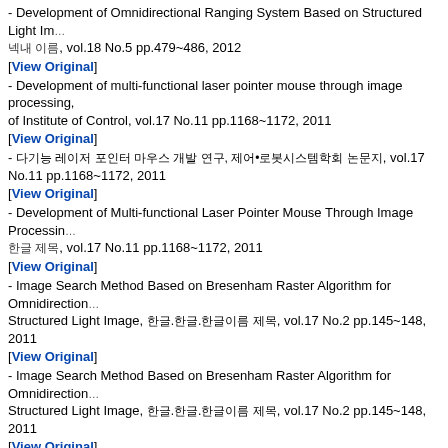- Development of Omnidirectional Ranging System Based on Structured Light Im... 한국어 제목, vol.18 No.5 pp.479~486, 2012
[View Original]
- Development of multi-functional laser pointer mouse through image processing, of Institute of Control, vol.17 No.11 pp.1168~1172, 2011
[View Original]
- 한국어논문 제목 한글 제목 한국어 논문 제목 한글 제목 제목, 한국어학술지이름 제목, vol.17 No.11 pp.1168~1172, 2011
[View Original]
- Development of Multi-functional Laser Pointer Mouse Through Image Processing... 한글 제목, vol.17 No.11 pp.1168~1172, 2011
[View Original]
- Image Search Method Based on Bresenham Raster Algorithm for Omnidirection Structured Light Image, 한글.한글.한글이름 제목, vol.17 No.2 pp.145~148, 2011
[View Original]
- Image Search Method Based on Bresenham Raster Algorithm for Omnidirection Structured Light Image, 한글.한글.한글이름 제목, vol.17 No.2 pp.145~148, 2011
[View Original]
- Illumination invariant motion estimation and segmentation, Communications in C and Information Science, vol.263 CCIS No.PART 2 pp.78~87, 2011
[View Original]
- An image processing for omnidirectional image based on the bresenham raster Communications in Computer and Information Science, vol.261 CCIS No.0 pp.8~
[View Original]
- Development of multi-functional laser pointer mouse through image processing, Communications in Computer and Information Science, vol.262 CCIS No.PART 1